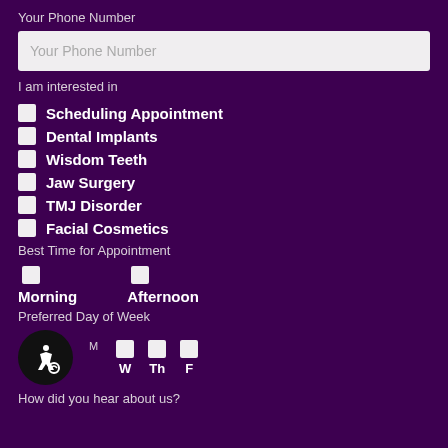Your Phone Number
[Figure (screenshot): Text input field with placeholder 'Your Phone Number']
I am interested in
Scheduling Appointment
Dental Implants
Wisdom Teeth
Jaw Surgery
TMJ Disorder
Facial Cosmetics
Best Time for Appointment
Morning
Afternoon
Preferred Day of Week
M
W
Th
F
How did you hear about us?